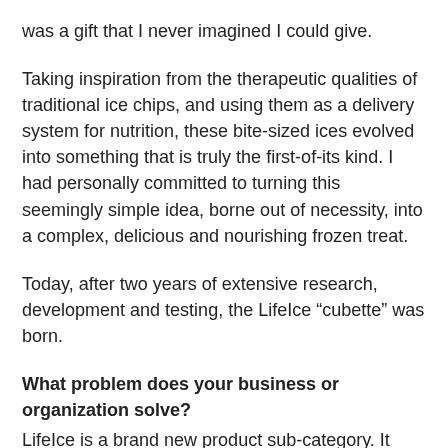was a gift that I never imagined I could give.
Taking inspiration from the therapeutic qualities of traditional ice chips, and using them as a delivery system for nutrition, these bite-sized ices evolved into something that is truly the first-of-its kind. I had personally committed to turning this seemingly simple idea, borne out of necessity, into a complex, delicious and nourishing frozen treat.
Today, after two years of extensive research, development and testing, the LifeIce “cubette” was born.
What problem does your business or organization solve?
LifeIce is a brand new product sub-category. It delivers a new frozen way to snack healthy that is:
100% Natural